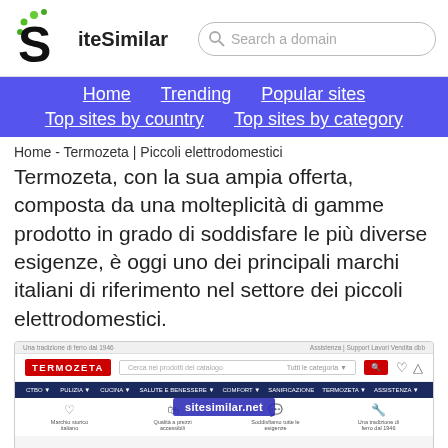[Figure (logo): SiteSimilar logo with stylized S and green dots]
Search a domain
Home   Trending   Popular sites   Top sites by country   Top sites by category
Home - Termozeta | Piccoli elettrodomestici
Termozeta, con la sua ampia offerta, composta da una molteplicità di gamme prodotto in grado di soddisfare le più diverse esigenze, è oggi uno dei principali marchi italiani di riferimento nel settore dei piccoli elettrodomestici.
[Figure (screenshot): Screenshot of the Termozeta website homepage showing logo, search bar, navigation menu, and feature icons. Watermark: sitesimilar.net]